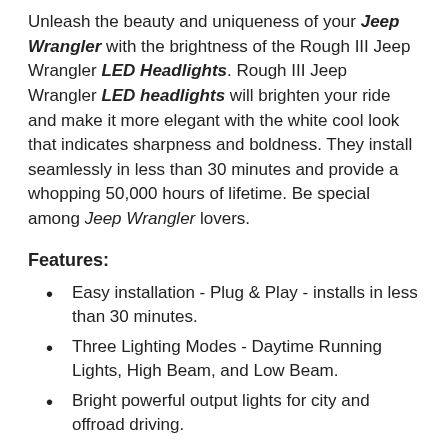Unleash the beauty and uniqueness of your Jeep Wrangler with the brightness of the Rough III Jeep Wrangler LED Headlights. Rough III Jeep Wrangler LED headlights will brighten your ride and make it more elegant with the white cool look that indicates sharpness and boldness. They install seamlessly in less than 30 minutes and provide a whopping 50,000 hours of lifetime. Be special among Jeep Wrangler lovers.
Features:
Easy installation - Plug & Play - installs in less than 30 minutes.
Three Lighting Modes - Daytime Running Lights, High Beam, and Low Beam.
Bright powerful output lights for city and offroad driving.